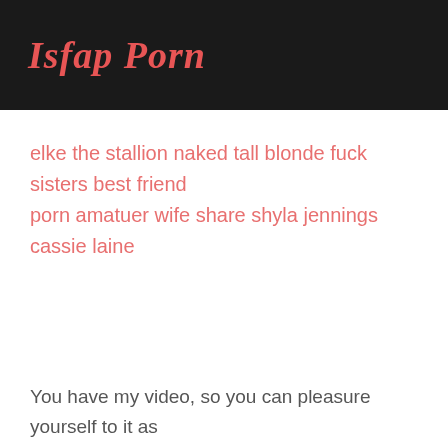Isfap Porn
elke the stallion naked tall blonde fuck sisters best friend porn amatuer wife share shyla jennings cassie laine
You have my video, so you can pleasure yourself to it as much as you want."That he does," the mother agreed."Really?"Bloody has to be to survive in Gateshead," I